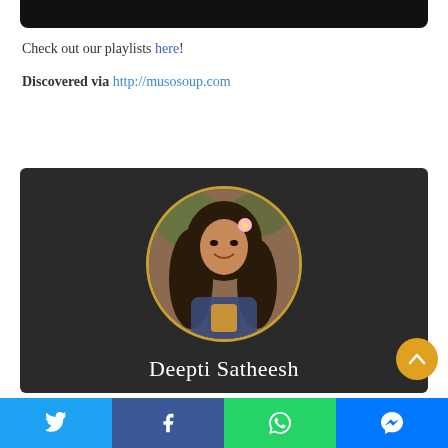[Figure (other): Black header bar at top of page]
Check out our playlists here!
Discovered via http://musosoup.com
[Figure (photo): Dark card with circular profile photo of Deepti Satheesh (woman with long curly hair, flower in hair, smiling) surrounded by gold circle border, with name 'Deepti Satheesh' in white text below]
Twitter | Facebook | WhatsApp | Messenger share buttons